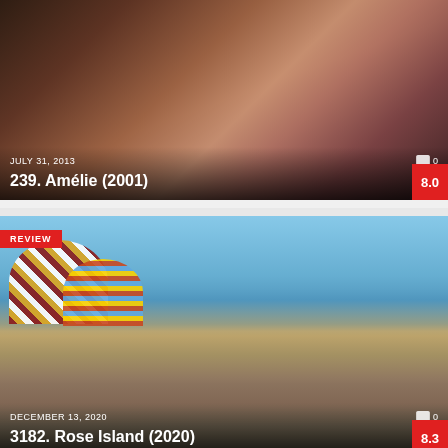[Figure (photo): Movie card for Amélie (2001) showing a close-up photo of a woman's face with warm tones, dated July 31, 2013, with a score of 8.0]
[Figure (photo): Movie card for Rose Island (2020) showing a group of five people standing on a beach/island platform with colorful beach umbrellas and sea in background, dated December 13, 2020, with a REVIEW badge and score of 8.3]